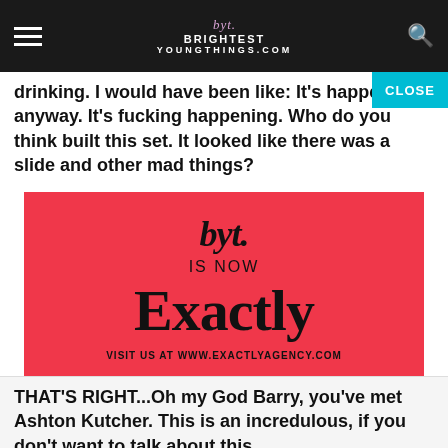byt. BRIGHTEST YOUNG THINGS
drinking. I would have been like: It's happening anyway. It's fucking happening. Who do you think built this set. It looked like there was a slide and other mad things?
[Figure (logo): Advertisement for Exactly agency on a red/coral background. Shows 'byt.' logo in script, text 'IS NOW', large serif 'Exactly', and 'VISIT US AT WWW.EXACTLYAGENCY.COM']
THAT'S RIGHT...Oh my God Barry, you've met Ashton Kutcher. This is an incredulous, if you don't want to talk about this